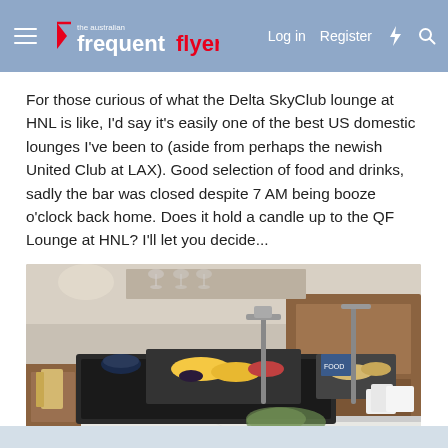The Australian Frequent Flyer — Log in  Register
For those curious of what the Delta SkyClub lounge at HNL is like, I'd say it's easily one of the best US domestic lounges I've been to (aside from perhaps the newish United Club at LAX). Good selection of food and drinks, sadly the bar was closed despite 7 AM being booze o'clock back home. Does it hold a candle up to the QF Lounge at HNL? I'll let you decide...
[Figure (photo): Interior photo of the Delta SkyClub lounge at HNL showing a food buffet counter with trays of fruit, snacks, a dark countertop with heating elements, and wooden cabinetry in the background. White marble-look countertop in foreground with cutlery wrapped in napkins.]